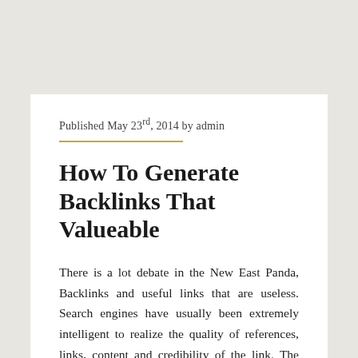Published May 23rd, 2014 by admin
How To Generate Backlinks That Valueable
There is a lot debate in the New East Panda, Backlinks and useful links that are useless. Search engines have usually been extremely intelligent to realize the quality of references, links, content and credibility of the link. The left, which was so worthwhile in 5 years, all of a sudden is not so robust. There is a cause, and this report on